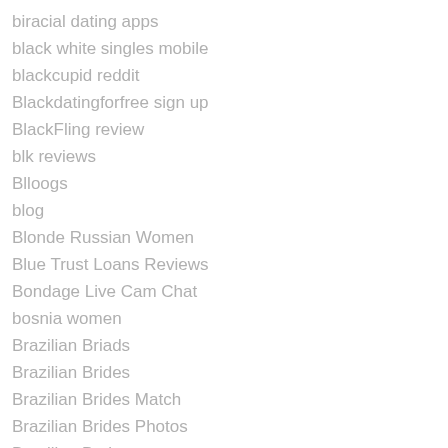biracial dating apps
black white singles mobile
blackcupid reddit
Blackdatingforfree sign up
BlackFling review
blk reviews
Blloogs
blog
Blonde Russian Women
Blue Trust Loans Reviews
Bondage Live Cam Chat
bosnia women
Brazilian Briads
Brazilian Brides
Brazilian Brides Match
Brazilian Brides Photos
Brazilian Dating
brazilian mail order brides